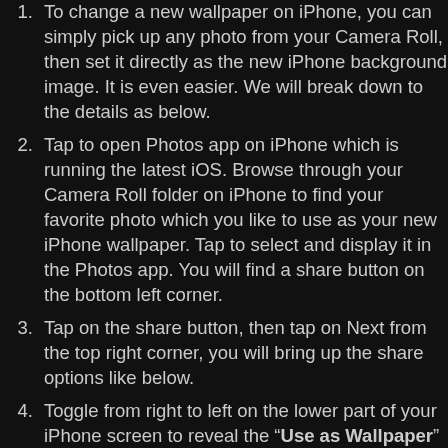To change a new wallpaper on iPhone, you can simply pick up any photo from your Camera Roll, then set it directly as the new iPhone background image. It is even easier. We will break down to the details as below.
Tap to open Photos app on iPhone which is running the latest iOS. Browse through your Camera Roll folder on iPhone to find your favorite photo which you like to use as your new iPhone wallpaper. Tap to select and display it in the Photos app. You will find a share button on the bottom left corner.
Tap on the share button, then tap on Next from the top right corner, you will bring up the share options like below.
Toggle from right to left on the lower part of your iPhone screen to reveal the "Use as Wallpaper" option. Tap on it then you will be able to move and scale the selected photo and then set it as wallpaper for iPhone Lock Screen, or both.